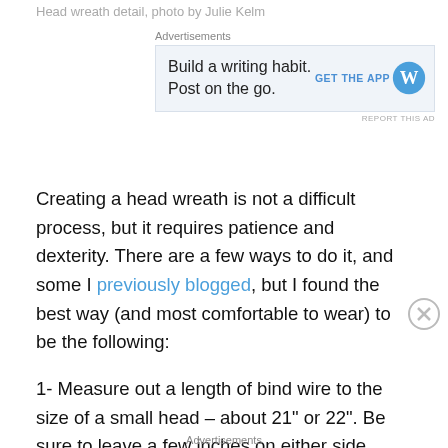Head wreath detail, photo by Julie Kelm
[Figure (other): WordPress advertisement banner: 'Build a writing habit. Post on the go.' with GET THE APP button and WordPress logo]
Creating a head wreath is not a difficult process, but it requires patience and dexterity.  There are a few ways to do it, and some I previously blogged, but I found the best way (and most comfortable to wear) to be the following:
1- Measure out a length of bind wire to the size of a small head – about 21” or 22”.  Be sure to leave a few inches on either side, fashioning these into loops. (So total length 23-25”)
2 – Take your base material (foliage like laurel, seeded eucalyptus, ruscus, etc) and lay it against the bind wire.
Advertisements